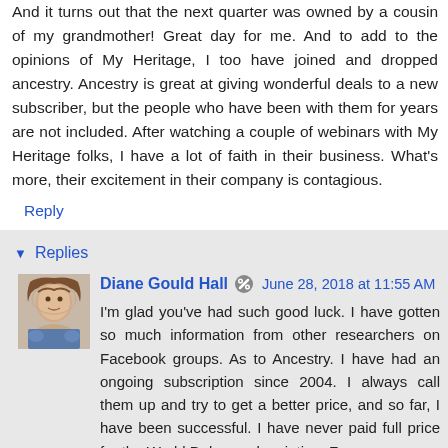And it turns out that the next quarter was owned by a cousin of my grandmother! Great day for me. And to add to the opinions of My Heritage, I too have joined and dropped ancestry. Ancestry is great at giving wonderful deals to a new subscriber, but the people who have been with them for years are not included. After watching a couple of webinars with My Heritage folks, I have a lot of faith in their business. What's more, their excitement in their company is contagious.
Reply
Replies
Diane Gould Hall  June 28, 2018 at 11:55 AM
I'm glad you've had such good luck. I have gotten so much information from other researchers on Facebook groups. As to Ancestry. I have had an ongoing subscription since 2004. I always call them up and try to get a better price, and so far, I have been successful. I have never paid full price for the World Deluxe subscription. For me,